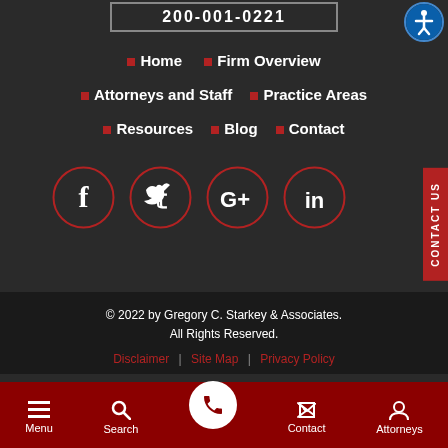200-001-0221
Home
Firm Overview
Attorneys and Staff
Practice Areas
Resources
Blog
Contact
[Figure (other): Social media icons: Facebook, Twitter, Google+, LinkedIn in circular borders]
CONTACT US
© 2022 by Gregory C. Starkey & Associates. All Rights Reserved. Disclaimer | Site Map | Privacy Policy
Menu  Search  Contact  Attorneys